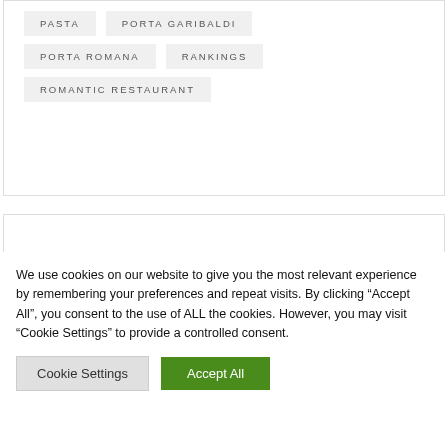PASTA
PORTA GARIBALDI
PORTA ROMANA
RANKINGS
ROMANTIC RESTAURANT
In cerca d’altro?
We use cookies on our website to give you the most relevant experience by remembering your preferences and repeat visits. By clicking “Accept All”, you consent to the use of ALL the cookies. However, you may visit "Cookie Settings" to provide a controlled consent.